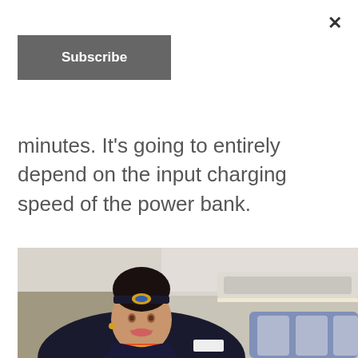×
Subscribe
minutes. It's going to entirely depend on the input charging speed of the power bank.
[Figure (photo): A flight attendant in a dark navy uniform with a colorful scarf and airline cap, smiling, pictured inside an airplane cabin with overhead panels and seats visible in the background.]